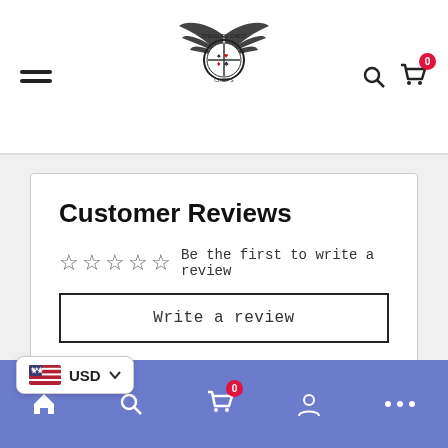Chief's Treasure Chest — navigation header with hamburger menu, logo, search and cart icons
Customer Reviews
Be the first to write a review
Write a review
At vero eos et accusamus et iusto odio dignissimos ducimus qui blanditiis praesentium voluptatum deleniti atque corrupti quos dolores et quas molestias excepturi sint occaecati cupiditate non provident, similique sunt in culpa qui officia deserunt mollitia animi, id est laborum et dolorum fuga. Et harum quidem rerum facilis est et expedita distinctio. ...ore, cum soluta nobis est eligendi optio cumque nihil
USD — bottom navigation bar with home, search, cart (0), account, more icons